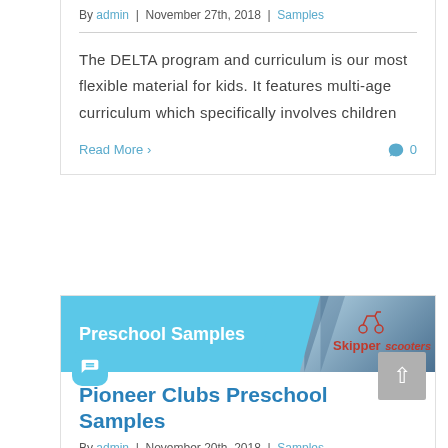By admin | November 27th, 2018 | Samples
The DELTA program and curriculum is our most flexible material for kids. It features multi-age curriculum which specifically involves children
Read More
[Figure (illustration): Preschool Samples banner with light blue background on left showing text 'Preschool Samples' in white bold font, and Skipper Scooters logo on the right side with diagonal design elements]
Pioneer Clubs Preschool Samples
By admin | November 20th, 2018 | Samples